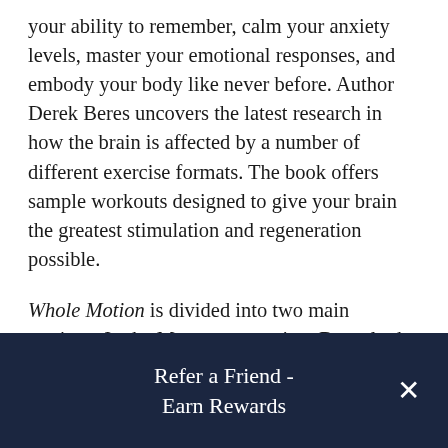your ability to remember, calm your anxiety levels, master your emotional responses, and embody your body like never before. Author Derek Beres uncovers the latest research in how the brain is affected by a number of different exercise formats. The book offers sample workouts designed to give your brain the greatest stimulation and regeneration possible.
Whole Motion is divided into two main sections. In the Movement section, Beres looks at the movement science and neuroscience behind Feldenkrais, strength training, HIIT, yoga, and meditation. He reveals the latest research behind each movement discipline and incorporates anecdotal examples from clients and students. He also includes information on
Refer a Friend - Earn Rewards